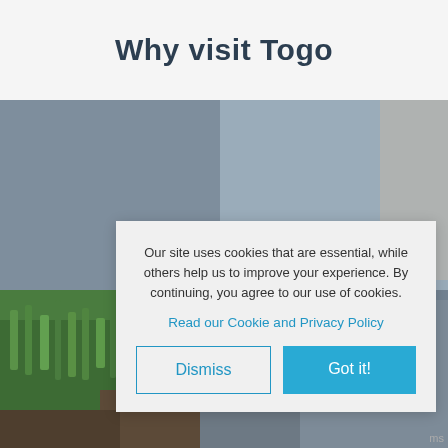Why visit Togo
[Figure (photo): Blurred outdoor photo with green grass/plants in foreground and grey background, possibly a nature/travel scene in Togo]
Our site uses cookies that are essential, while others help us to improve your experience. By continuing, you agree to our use of cookies.
Read our Cookie and Privacy Policy
Dismiss
Got it!